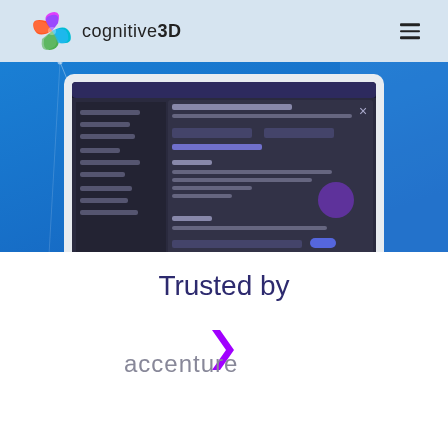[Figure (logo): Cognitive3D logo with colorful swirl icon and brand name 'cognitive3D']
[Figure (screenshot): Laptop displaying the Cognitive3D analytics dashboard interface with dark UI, form fields, and a purple circle element, set against a blue gradient hero background with geometric line decorations]
Trusted by
[Figure (logo): Accenture logo - chevron symbol with partial text 'accenture' visible at bottom]